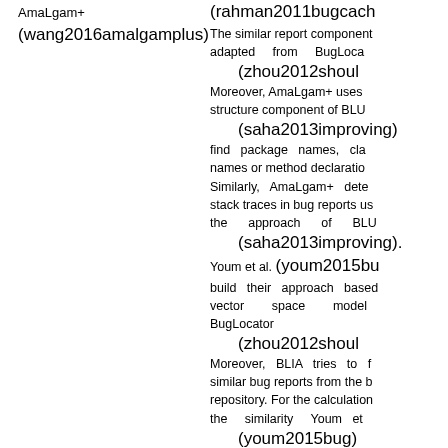AmaLgam+
(wang2016amalgamplus)
(rahman2011bugcach... The similar report component adapted from BugLoca... (zhou2012shoul... Moreover, AmaLgam+ uses the structure component of BLU... (saha2013improving) find package names, cla... names or method declaratio... Similarly, AmaLgam+ dete... stack traces in bug reports us... the approach of BLU... (saha2013improving). Youm et al. (youm2015bu... build their approach based vector space model BugLocator (zhou2012shoul... Moreover, BLIA tries to f... similar bug reports from the b... repository. For the calculation the similarity Youm et ... (youm2015bug)